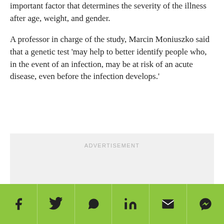important factor that determines the severity of the illness after age, weight, and gender.
A professor in charge of the study, Marcin Moniuszko said that a genetic test 'may help to better identify people who, in the event of an infection, may be at risk of an acute disease, even before the infection develops.'
[Figure (other): Advertisement placeholder box with light grey background and 'ADVERTISEMENT' label text]
[Figure (other): Social sharing bar with icons for Facebook, Twitter, WhatsApp, LinkedIn, Email, and Messenger on a green background]